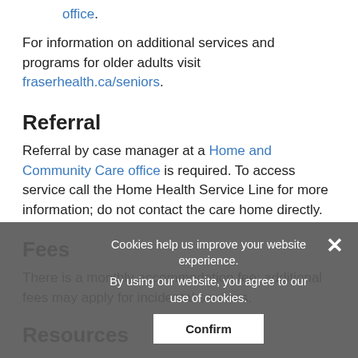office.
For information on additional services and programs for older adults visit fraserhealth.ca/seniors.
Referral
Referral by case manager at a Home and Community Care office is required. To access service call the Home Health Service Line for more information; do not contact the care home directly.
Fees
There is a monthly accommodation fee; additional fees may apply for incidental services.
Resources
See our long term care approximate wait times by community [map].
Cookies help us improve your website experience. By using our website, you agree to our use of cookies.